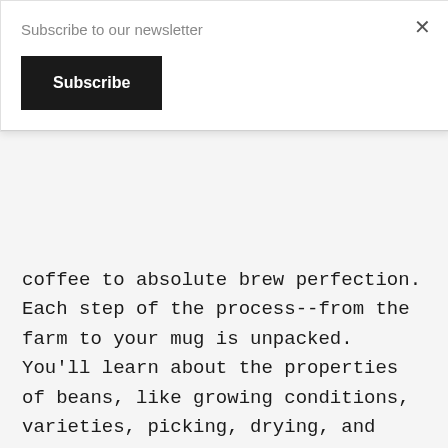Subscribe to our newsletter
Subscribe
coffee to absolute brew perfection. Each step of the process--from the farm to your mug is unpacked. You'll learn about the properties of beans, like growing conditions, varieties, picking, drying, and roasting. Then the real nitty-gritty stuff: grinding, tamping, extraction, and manual brewing methods. How do steaming techniques differ between whole milk and soy, or from oat to almond? This ultimate coffee guide tells all.
For those playing at home, this book